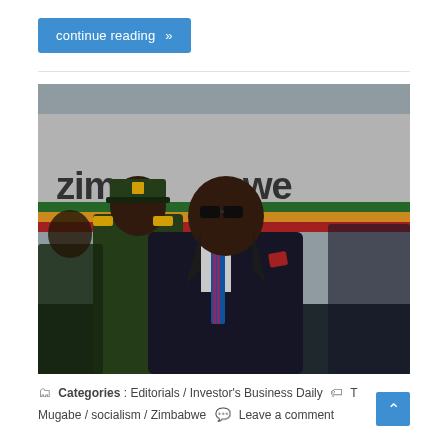continue reading »
[Figure (photo): A man in a dark suit with a blue and pink striped tie and red pocket square, wearing sunglasses, stands in front of a Zimbabwe Airlines aircraft. A military officer in green uniform with gold epaulettes stands behind him to the left.]
Categories : Editorials / Investor's Business Daily  T Mugabe / socialism / Zimbabwe  Leave a comment